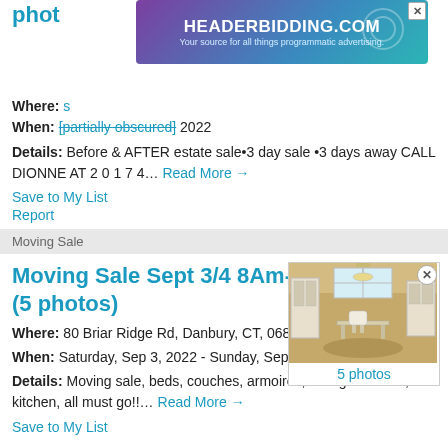[Figure (other): HEADERBIDDING.COM advertisement banner with purple-teal gradient background. Text: 'HEADERBIDDING.COM - Your source for all things programmatic advertising.']
Where: [partially obscured]
When: [partially obscured] 2022
Details: Before & AFTER estate sale•3 day sale •3 days away CALL DIONNE AT 2 0 1 7 4…
Read More →
Save to My List
Report
Moving Sale
Moving Sale Sept 3/4 8Am-3Pm (5 photos)
[Figure (photo): Interior room photo showing white furniture, dining chairs, chandelier, hardwood floor with rug, cabinets. Caption: 5 photos]
Where: 80 Briar Ridge Rd, Danbury, CT, 06810
When: Saturday, Sep 3, 2022 - Sunday, Sep 4, 2022
Details: Moving sale, beds, couches, armoires, dining room set, kitchen, all must go!!…
Read More →
Save to My List